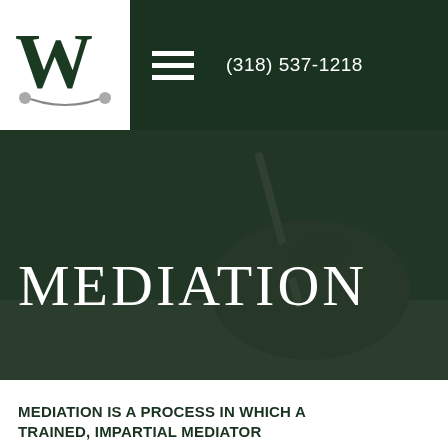[Figure (logo): Law firm logo with large green W and scales of justice, white background]
(318) 537-1218
[Figure (photo): Dark background photo of a hand holding a pen and writing on a document, overlaid with dark green tint]
MEDIATION
MEDIATION IS A PROCESS IN WHICH A TRAINED, IMPARTIAL MEDIATOR